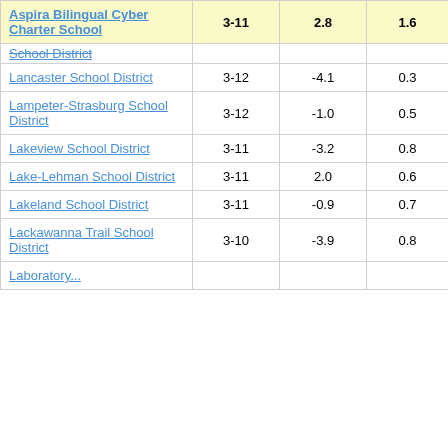| School/District | Grades | Col3 | Col4 | Score |
| --- | --- | --- | --- | --- |
| Aspira Bilingual Cyber Charter School | 3-11 | 2.8 | 1.6 | 1.78 |
| School District |  |  |  |  |
| Lancaster School District | 3-12 | -4.1 | 0.3 | -14.65 |
| Lampeter-Strasburg School District | 3-12 | -1.0 | 0.5 | -2.24 |
| Lakeview School District | 3-11 | -3.2 | 0.8 | -3.93 |
| Lake-Lehman School District | 3-11 | 2.0 | 0.6 | 3.41 |
| Lakeland School District | 3-11 | -0.9 | 0.7 | -1.28 |
| Lackawanna Trail School District | 3-10 | -3.9 | 0.8 | -5.05 |
| Laboratory... |  |  |  |  |